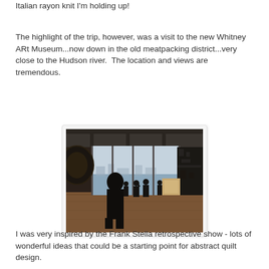Italian rayon knit I'm holding up!
The highlight of the trip, however, was a visit to the new Whitney ARt Museum...now down in the old meatpacking district...very close to the Hudson river.  The location and views are tremendous.
[Figure (photo): Interior of Whitney Art Museum gallery showing floor-to-ceiling windows with a view of the Hudson River, silhouetted figures of museum visitors, and large sculptural artworks on either side]
I was very inspired by the Frank Stella retrospective show - lots of wonderful ideas that could be a starting point for abstract quilt design.